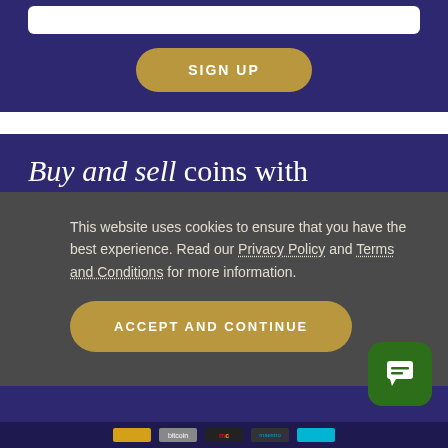[Figure (screenshot): White input box for sign-up form]
SIGN UP
Buy and sell coins with confidence.
Britannia Coin Company are the UK's leading online gold and silver coin buyer. We offer UK investors the opportunity to buy at low premiums above the global spot price and give practical
This website uses cookies to ensure that you have the best experience. Read our Privacy Policy and Terms and Conditions for more information.
ACCEPT AND CONTINUE
[Figure (screenshot): Payment method icons in footer: yellow, grey, Mastercard, Maestro, cyan brand logos]